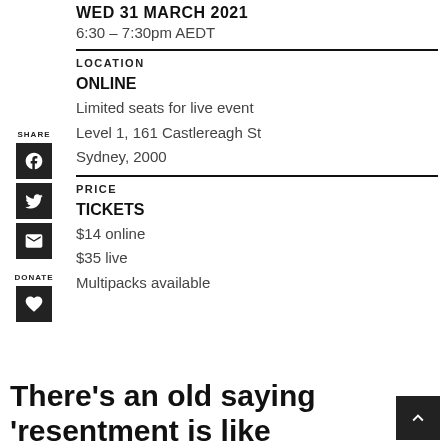WED 31 MARCH 2021
6:30 – 7:30pm AEDT
LOCATION
ONLINE
Limited seats for live event
Level 1, 161 Castlereagh St
Sydney, 2000
PRICE
TICKETS
$14 online
$35 live
Multipacks available
There's an old saying 'resentment is like